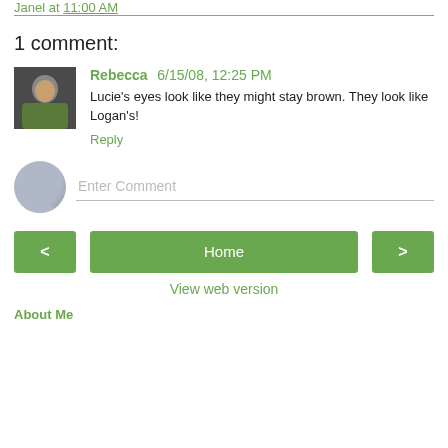Janel at 11:00 AM
1 comment:
Rebecca 6/15/08, 12:25 PM
Lucie's eyes look like they might stay brown. They look like Logan's!
Reply
Enter Comment
Home
View web version
About Me